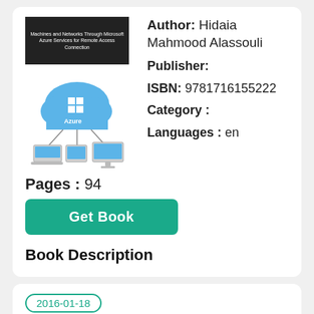[Figure (illustration): Book cover with dark background and text about Machines and Networks Through Microsoft Azure Services for Remote Access Connection, plus an Azure cloud illustration showing cloud logo with Windows icon and connected devices]
Author: Hidaia Mahmood Alassouli
Publisher:
ISBN: 9781716155222
Category :
Languages : en
Pages : 94
Get Book
Book Description
2016-01-18